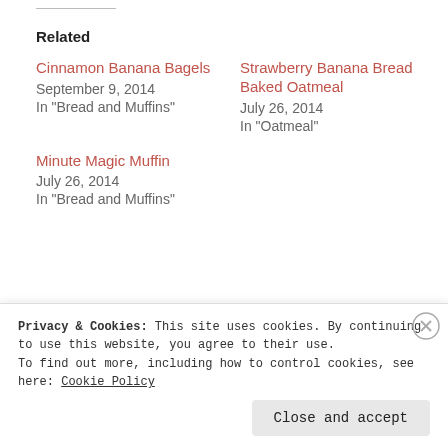Related
Cinnamon Banana Bagels
September 9, 2014
In "Bread and Muffins"
Strawberry Banana Bread Baked Oatmeal
July 26, 2014
In "Oatmeal"
Minute Magic Muffin
July 26, 2014
In "Bread and Muffins"
OATMEAL
BANANA  BANANA SPLIT  BREAKFAST  CHILDHOOD  CHOCOLATE  DAIRY FREE  DESSERT  EASY  GLUTEN-FREE  HEALTHY  NO SUGAR ADDED  OATMEAL  SINGLE SERVING  VEGAN  VEGETARIAN  YUMMY
Privacy & Cookies: This site uses cookies. By continuing to use this website, you agree to their use.
To find out more, including how to control cookies, see here: Cookie Policy
Close and accept